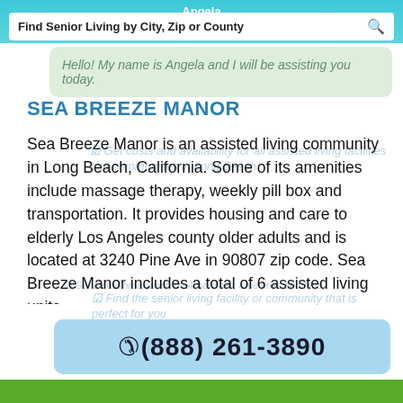Find Senior Living by City, Zip or County
Hello! My name is Angela and I will be assisting you today.
SEA BREEZE MANOR
Sea Breeze Manor is an assisted living community in Long Beach, California. Some of its amenities include massage therapy, weekly pill box and transportation. It provides housing and care to elderly Los Angeles county older adults and is located at 3240 Pine Ave in 90807 zip code. Sea Breeze Manor includes a total of 6 assisted living units.
(888) 261-3890